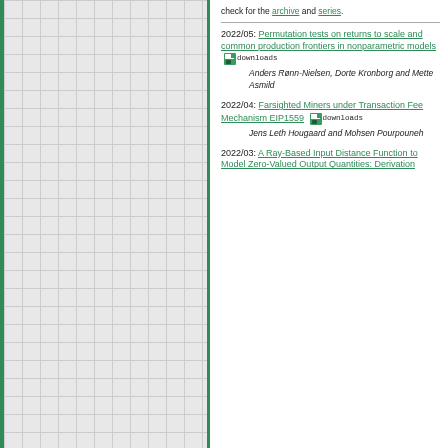check for the archive and series.
2022/05: Permutation tests on returns to scale and common production frontiers in nonparametric models [downloads] Anders Rønn-Nielsen, Dorte Kronborg and Mette Asmild
2022/04: Farsighted Miners under Transaction Fee Mechanism EIP1559 [downloads] Jens Leth Hougaard and Mohsen Pourpouneh
2022/03: A Ray-Based Input Distance Function to Model Zero-Valued Output Quantities: Derivation...